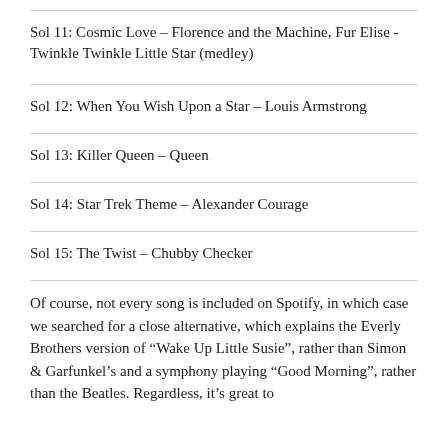Sol 11: Cosmic Love – Florence and the Machine, Fur Elise - Twinkle Twinkle Little Star (medley)
Sol 12: When You Wish Upon a Star – Louis Armstrong
Sol 13: Killer Queen – Queen
Sol 14: Star Trek Theme – Alexander Courage
Sol 15: The Twist – Chubby Checker
Of course, not every song is included on Spotify, in which case we searched for a close alternative, which explains the Everly Brothers version of “Wake Up Little Susie”, rather than Simon & Garfunkel’s and a symphony playing “Good Morning”, rather than the Beatles. Regardless, it’s great to